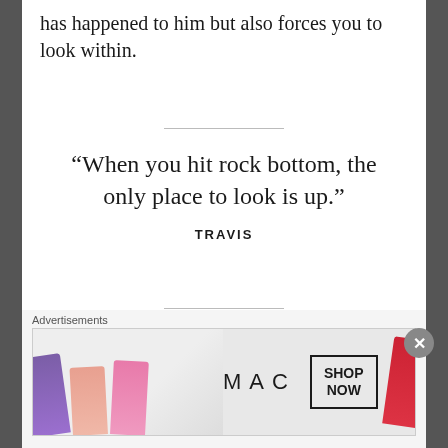has happened to him but also forces you to look within.
“When you hit rock bottom, the only place to look is up.”
TRAVIS
I can’t praise Derrick Perry’s writing enough throughout this movie. From the moment we meet Travis, he makes the audience want to connect with his journey. Because of this, as each scene happens, you empathize with him
Advertisements